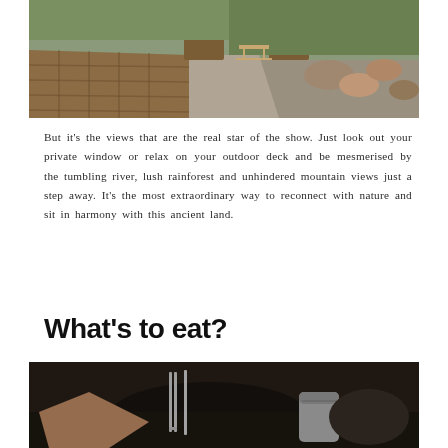[Figure (photo): Outdoor deck area with wooden planking, gravel path leading to a picnic table, raised garden beds, and rocky landscape with greenery in the background]
But it's the views that are the real star of the show. Just look out your private window or relax on your outdoor deck and be mesmerised by the tumbling river, lush rainforest and unhindered mountain views just a step away. It's the most extraordinary way to reconnect with nature and sit in harmony with this ancient land.
What's to eat?
[Figure (photo): Close-up of hands holding cutlery over a dark plate, with a metal container and bowl in the background, dark moody setting]